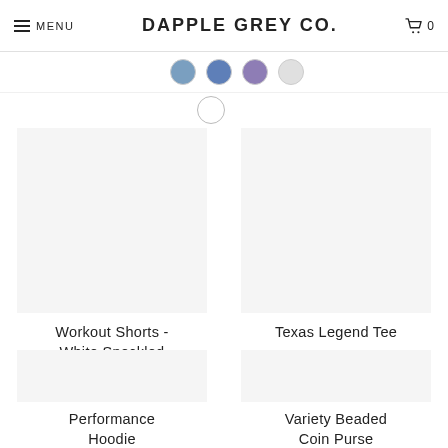MENU  DAPPLE GREY CO.  0
Workout Shorts - White Speckled
$58.00
Texas Legend Tee
$37.00
Performance Hoodie
Variety Beaded Coin Purse